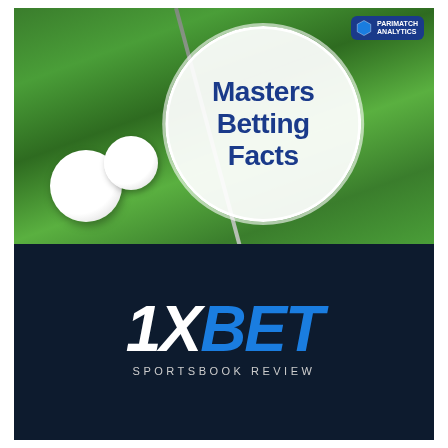[Figure (photo): Golf photo showing two white golf balls on green grass with a golf club, overlaid with a white circular badge containing the text 'Masters Betting Facts' in dark blue bold text. A small logo badge appears in the top-right corner.]
Masters Betting Facts
[Figure (logo): 1XBET Sportsbook Review logo on dark navy background. '1X' in white bold italic, 'BET' in blue bold italic, with 'SPORTSBOOK REVIEW' in small gray uppercase letters below.]